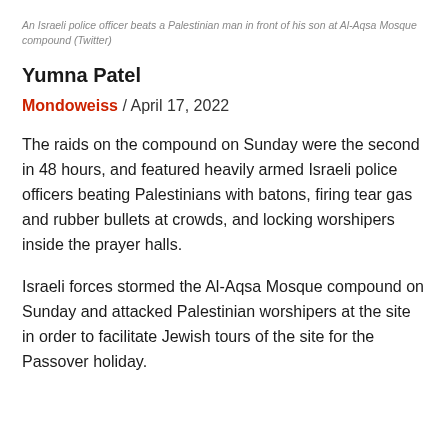An Israeli police officer beats a Palestinian man in front of his son at Al-Aqsa Mosque compound (Twitter)
Yumna Patel
Mondoweiss / April 17, 2022
The raids on the compound on Sunday were the second in 48 hours, and featured heavily armed Israeli police officers beating Palestinians with batons, firing tear gas and rubber bullets at crowds, and locking worshipers inside the prayer halls.
Israeli forces stormed the Al-Aqsa Mosque compound on Sunday and attacked Palestinian worshipers at the site in order to facilitate Jewish tours of the site for the Passover holiday.